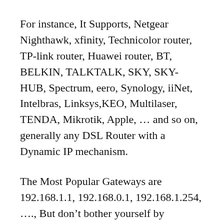For instance, It Supports, Netgear Nighthawk, xfinity, Technicolor router, TP-link router, Huawei router, BT, BELKIN, TALKTALK, SKY, SKY-HUB, Spectrum, eero, Synology, iiNet, Intelbras, Linksys,KEO, Multilaser, TENDA, Mikrotik, Apple, … and so on, generally any DSL Router with a Dynamic IP mechanism.
The Most Popular Gateways are 192.168.1.1, 192.168.0.1, 192.168.1.254, …., But don't bother yourself by searching on the internet about it, we will get it for you.
What we offer here is a fast, stable, and reliable performance that you can depend on, and we are open for any user contribution to help us